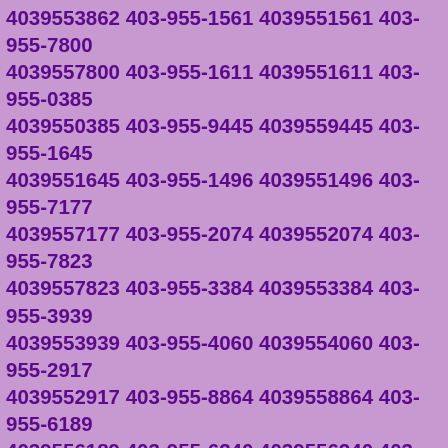4039553862 403-955-1561 4039551561 403-955-7800 4039557800 403-955-1611 4039551611 403-955-0385 4039550385 403-955-9445 4039559445 403-955-1645 4039551645 403-955-1496 4039551496 403-955-7177 4039557177 403-955-2074 4039552074 403-955-7823 4039557823 403-955-3384 4039553384 403-955-3939 4039553939 403-955-4060 4039554060 403-955-2917 4039552917 403-955-8864 4039558864 403-955-6189 4039556189 403-955-6240 4039556240 403-955-6365 4039556365 403-955-8045 4039558045 403-95-8237 4039558237 403-955-8551 4039558551 403-955-8725 4039558725 403-955-0553 4039550553 403-955-5740 4039555740 403-955-6263 4039556263 403-955-6103 4039556103 403-955-7071 4039557071 403-955-4415 4039554415 403-955-0414 4039550414 403-955-7517 4039557517 403-955-3637 4039553637 403-955-5598 4039555598 403-955-8068 4039558068 403-955-0051 4039550051 403-955-2583 4039552583 403-955-0429 4039550429 403-955-6754 4039556754 403-955-9677 4039559677 403-955-4107 4039554107 403-955-2676 4039552676 403-955-4202 4039554202 403-955-4397